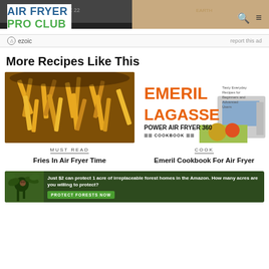AIR FRYER PRO CLUB
ezoic   report this ad
More Recipes Like This
[Figure (photo): Air fryer french fries in a basket, golden and crispy]
MUST READ
Fries In Air Fryer Time
[Figure (photo): Emeril Lagasse Power Air Fryer 360 Cookbook cover with orange text and food images]
COOK
Emeril Cookbook For Air Fryer
[Figure (photo): Advertisement banner: Just $2 can protect 1 acre of irreplaceable forest homes in the Amazon. How many acres are you willing to protect? PROTECT FORESTS NOW]